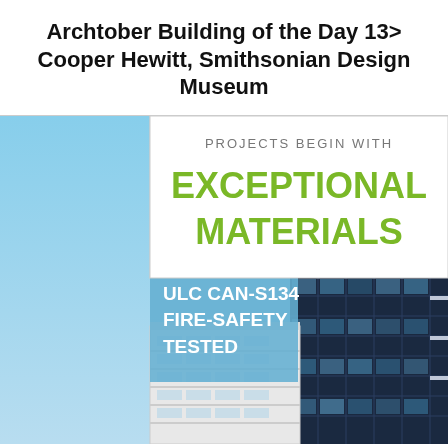Archtober Building of the Day 13> Cooper Hewitt, Smithsonian Design Museum
[Figure (infographic): Advertisement/promotional image showing two buildings: a white modern structure on the left and a dark glass high-rise tower on the right. An inset white box at the top reads 'PROJECTS BEGIN WITH EXCEPTIONAL MATERIALS'. A blue band overlay reads 'ULC CAN-S134 FIRE-SAFETY TESTED'.]